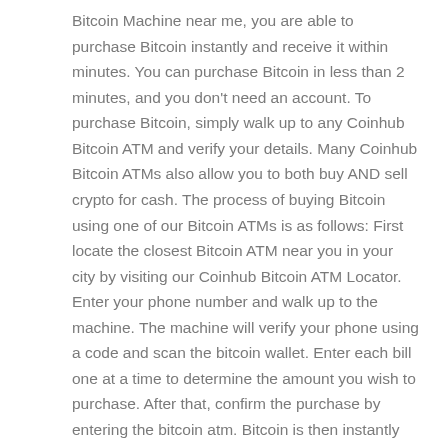Bitcoin Machine near me, you are able to purchase Bitcoin instantly and receive it within minutes. You can purchase Bitcoin in less than 2 minutes, and you don't need an account. To purchase Bitcoin, simply walk up to any Coinhub Bitcoin ATM and verify your details. Many Coinhub Bitcoin ATMs also allow you to both buy AND sell crypto for cash. The process of buying Bitcoin using one of our Bitcoin ATMs is as follows: First locate the closest Bitcoin ATM near you in your city by visiting our Coinhub Bitcoin ATM Locator. Enter your phone number and walk up to the machine. The machine will verify your phone using a code and scan the bitcoin wallet. Enter each bill one at a time to determine the amount you wish to purchase. After that, confirm the purchase by entering the bitcoin atm. Bitcoin is then instantly sent to your wallet. The daily buying limit is $25,000. There are Bitcoin Machines located in major cities across the country.